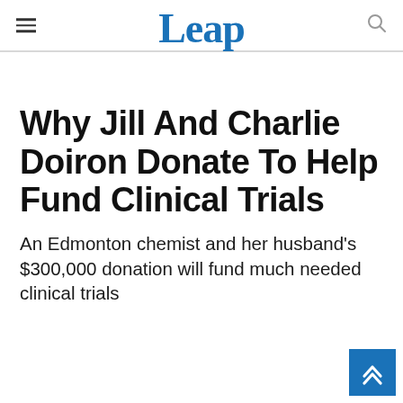Leap
Why Jill And Charlie Doiron Donate To Help Fund Clinical Trials
An Edmonton chemist and her husband's $300,000 donation will fund much needed clinical trials